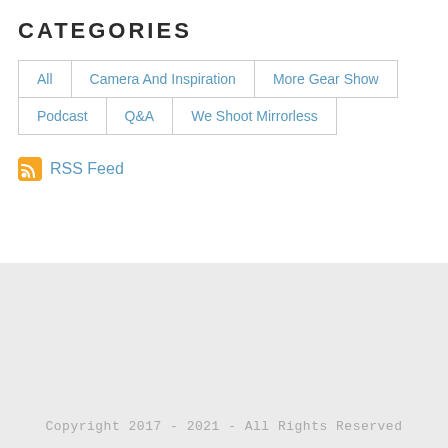CATEGORIES
All
Camera And Inspiration
More Gear Show
Podcast
Q&A
We Shoot Mirrorless
RSS Feed
Copyright 2017 - 2021 - All Rights Reserved